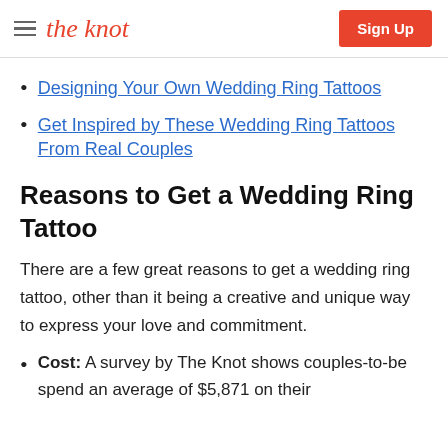the knot | Sign Up
Designing Your Own Wedding Ring Tattoos
Get Inspired by These Wedding Ring Tattoos From Real Couples
Reasons to Get a Wedding Ring Tattoo
There are a few great reasons to get a wedding ring tattoo, other than it being a creative and unique way to express your love and commitment.
Cost: A survey by The Knot shows couples-to-be spend an average of $5,871 on their